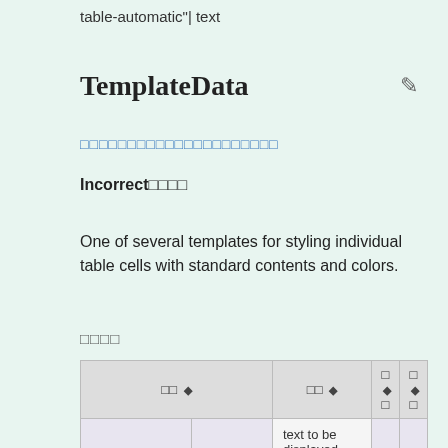table-automatic"| text
TemplateData
□□□□□□□□□□□□□□□□□□□□□
Incorrect□□□□
One of several templates for styling individual table cells with standard contents and colors.
□□□□
| □□ | □□ | □□ | □□ |
| --- | --- | --- | --- |
|  |  | text to be displayed instead of the default, if |  |  |